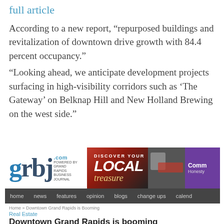full article
According to a new report, "repurposed buildings and revitalization of downtown drive growth with 84.4 percent occupancy."
"Looking ahead, we anticipate development projects surfacing in high-visibility corridors such as 'The Gateway' on Belknap Hill and New Holland Brewing on the west side."
[Figure (screenshot): Screenshot of grbj.com website showing the Grand Rapids Business Journal header with logo, advertisement banner (Discover Your Local Treasure), navigation bar (home, news, features, opinion, blogs, change ups, calend...), breadcrumb navigation (Home > Downtown Grand Rapids is Booming), article category (Real Estate), article title (Downtown Grand Rapids is booming), subtitle (Report indicates robust growth across almost all sectors.), and date/author line (December 19, 2014 | By Mike Nichols | 0 Comments)]